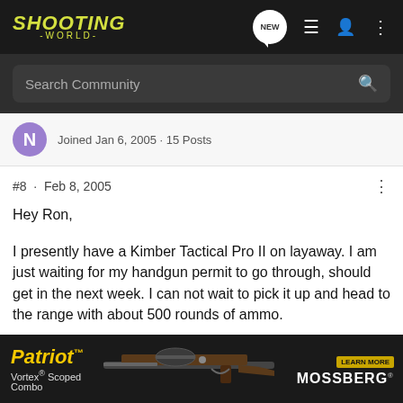SHOOTING WORLD
Search Community
Joined Jan 6, 2005 · 15 Posts
#8 · Feb 8, 2005
Hey Ron,
I presently have a Kimber Tactical Pro II on layaway. I am just waiting for my handgun permit to go through, should get in the next week. I can not wait to pick it up and head to the range with about 500 rounds of ammo.
I also shoot a Browning Buckmark .22lr. This would be my squirrel killer. I love this gun. I have put about 5000 rounds through it, a few misfeeds, All of which were my fault, forgot to... The only had...
[Figure (advertisement): Patriot Vortex Scoped Combo advertisement with rifle image and LEARN MORE / MOSSBERG branding]